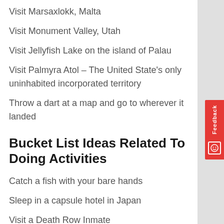Visit Marsaxlokk, Malta
Visit Monument Valley, Utah
Visit Jellyfish Lake on the island of Palau
Visit Palmyra Atol – The United State's only uninhabited incorporated territory
Throw a dart at a map and go to wherever it landed
Bucket List Ideas Related To Doing Activities
Catch a fish with your bare hands
Sleep in a capsule hotel in Japan
Visit a Death Row Inmate
Climb Mt Kilimanjaro
Run a 5:30 min mile
Circumnavigate the globe
Worship in a Buddhist Temple